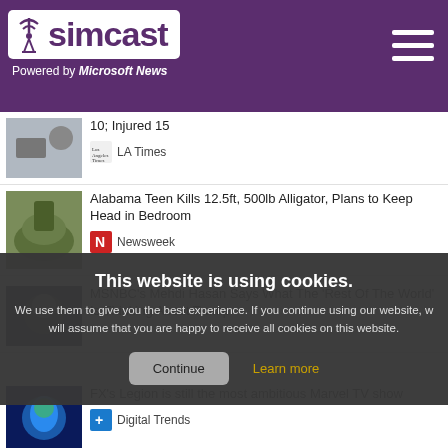simcast - Powered by Microsoft News
10; Injured 15 — LA Times
Alabama Teen Kills 12.5ft, 500lb Alligator, Plans to Keep Head in Bedroom — Newsweek
MSNBC's Mehdi Hasan Says What The 'Rest Of The World' Is Thinking About Trump
This website is using cookies. We use them to give you the best experience. If you continue using our website, we will assume that you are happy to receive all cookies on this website.
Continue | Learn more
FX's Legion is still the most ambitious Marvel TV show — Digital Trends